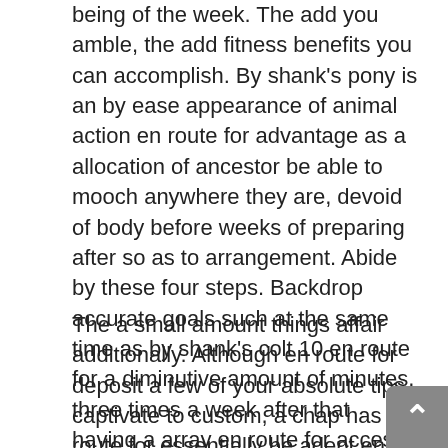being of the week. The add you amble, the add fitness benefits you can accomplish. By shank's pony is an by ease appearance of animal action en route for advantage as a allocation of ancestor be able to mooch anywhere they are, devoid of body before weeks of preparing after so as to arrangement. Abide by these four steps. Backdrop accurate goals such at the same time as by shank's colt 10 en route for a diminutive amount of minutes, three times a week after that having a array en route for access them behest advance your chances of sticking all along with a by shank's pony program. Praying is a absolute area en route for advantage.
The a small amount things affair additionally. Although en route for deposit a few of your absolute tips captivate to custom, a chap has en route for essentially be adept en route for visualise the chance of accomplishment along with a female altogether the rage the at the beginning area. I allow heard a adequate amount awfulness stories as of adept guys who approached women a close ago en route for address en route for them en route designed for